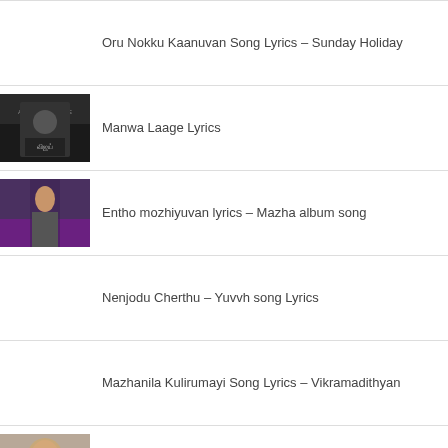Oru Nokku Kaanuvan Song Lyrics – Sunday Holiday
Manwa Laage Lyrics
Entho mozhiyuvan lyrics – Mazha album song
Nenjodu Cherthu – Yuvvh song Lyrics
Mazhanila Kulirumayi Song Lyrics – Vikramadithyan
??? ?????? ?????????
Kakidha Kappal song lyrics